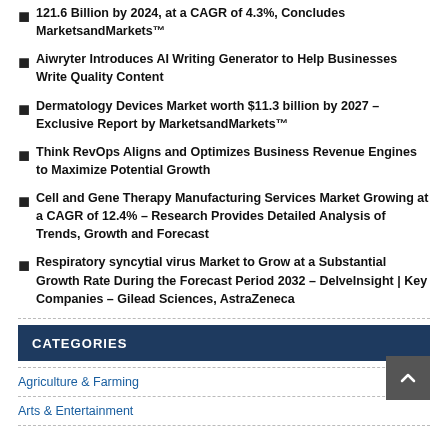121.6 Billion by 2024, at a CAGR of 4.3%, Concludes MarketsandMarkets™
Aiwryter Introduces AI Writing Generator to Help Businesses Write Quality Content
Dermatology Devices Market worth $11.3 billion by 2027 – Exclusive Report by MarketsandMarkets™
Think RevOps Aligns and Optimizes Business Revenue Engines to Maximize Potential Growth
Cell and Gene Therapy Manufacturing Services Market Growing at a CAGR of 12.4% – Research Provides Detailed Analysis of Trends, Growth and Forecast
Respiratory syncytial virus Market to Grow at a Substantial Growth Rate During the Forecast Period 2032 – DelveInsight | Key Companies – Gilead Sciences, AstraZeneca
CATEGORIES
Agriculture & Farming
Arts & Entertainment